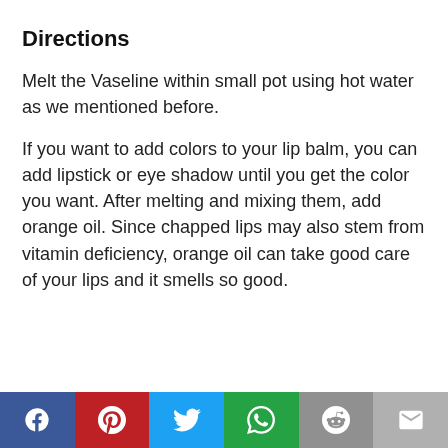Directions
Melt the Vaseline within small pot using hot water as we mentioned before.
If you want to add colors to your lip balm, you can add lipstick or eye shadow until you get the color you want. After melting and mixing them, add orange oil. Since chapped lips may also stem from vitamin deficiency, orange oil can take good care of your lips and it smells so good.
[Figure (infographic): Social media sharing bar with icons for Facebook, Pinterest, Twitter, WhatsApp, Reddit, and Email]